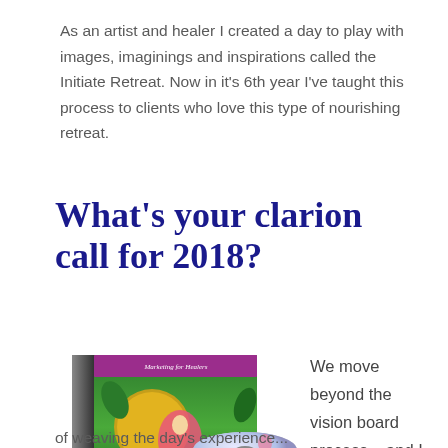As an artist and healer I created a day to play with images, imaginings and inspirations called the Initiate Retreat. Now in it's 6th year I've taught this process to clients who love this type of nourishing retreat.
What's your clarion call for 2018?
[Figure (illustration): Product box set showing a colorful illustrated book/binder with a woman in a pink and green floral dress on the cover, surrounded by multiple CDs/DVDs. The cover artwork is vibrant green with the title partially visible.]
We move beyond the vision board process... and I have a unique way
of weaving the day's experience...